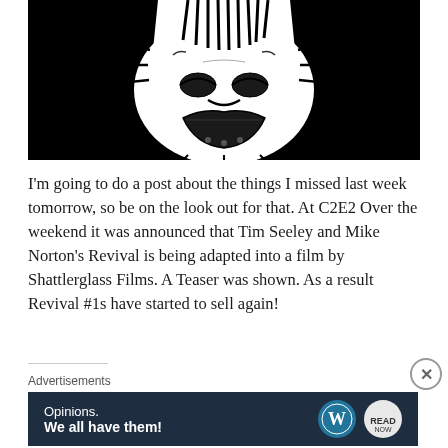[Figure (illustration): Black and white comic book illustration showing an inverted face/monster with detailed ink work, mostly black background with white highlights, showing a grotesque upside-down face with intricate line work]
I'm going to do a post about the things I missed last week tomorrow, so be on the look out for that. At C2E2 Over the weekend it was announced that Tim Seeley and Mike Norton's Revival is being adapted into a film by Shattlerglass Films. A Teaser was shown. As a result Revival #1s have started to sell again!
Advertisements
[Figure (screenshot): Advertisement banner with dark navy background. Left side shows text: 'Opinions. We all have them!' Right side shows WordPress logo (white W on dark circle) and another circular brand logo on white background.]